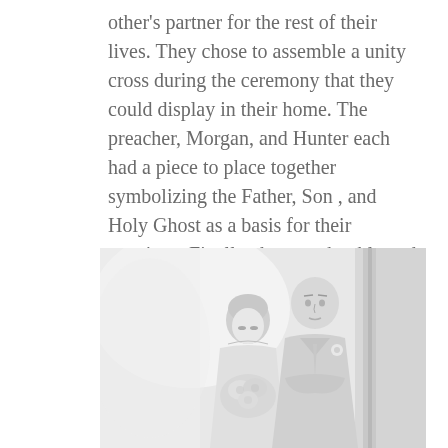other's partner for the rest of their lives. They chose to assemble a unity cross during the ceremony that they could display in their home. The preacher, Morgan, and Hunter each had a piece to place together symbolizing the Father, Son , and Holy Ghost as a basis for their marriage. Finally, the preacher blessed their marriage; Hunter got to kiss his bride and lead her out the back exit.
[Figure (photo): Black and white wedding photo of a bride in a strapless dress holding a bouquet of flowers, standing beside a groom in a light suit with a boutonniere, both looking downward.]